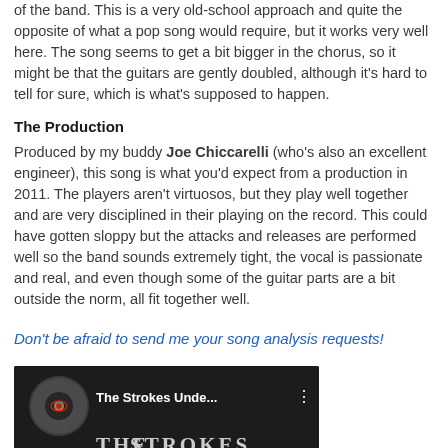of the band. This is a very old-school approach and quite the opposite of what a pop song would require, but it works very well here. The song seems to get a bit bigger in the chorus, so it might be that the guitars are gently doubled, although it's hard to tell for sure, which is what's supposed to happen.
The Production
Produced by my buddy Joe Chiccarelli (who's also an excellent engineer), this song is what you'd expect from a production in 2011. The players aren't virtuosos, but they play well together and are very disciplined in their playing on the record. This could have gotten sloppy but the attacks and releases are performed well so the band sounds extremely tight, the vocal is passionate and real, and even though some of the guitar parts are a bit outside the norm, all fit together well.
Don't be afraid to send me your song analysis requests!
[Figure (screenshot): YouTube video thumbnail for 'The Strokes Unde...' showing The Strokes logo text at bottom and a circular icon at left]